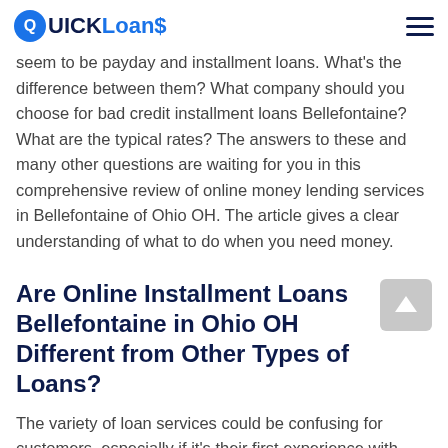Quick Loans
seem to be payday and installment loans. What's the difference between them? What company should you choose for bad credit installment loans Bellefontaine? What are the typical rates? The answers to these and many other questions are waiting for you in this comprehensive review of online money lending services in Bellefontaine of Ohio OH. The article gives a clear understanding of what to do when you need money.
Are Online Installment Loans Bellefontaine in Ohio OH Different from Other Types of Loans?
The variety of loan services could be confusing for customers, especially if it's their first experience with online loans. We're going to clarify in what ways Bellefontaine installment loans are different from such services as